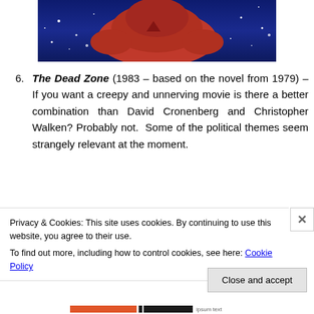[Figure (photo): Top portion of an image showing a red figure against a dark blue background with stars, partially cropped at top of page]
6. The Dead Zone (1983 – based on the novel from 1979) – If you want a creepy and unnerving movie is there a better combination than David Cronenberg and Christopher Walken? Probably not. Some of the political themes seem strangely relevant at the moment.
[Figure (photo): Bottom partial image showing dark grayish scene, partially obscured by cookie consent banner]
Privacy & Cookies: This site uses cookies. By continuing to use this website, you agree to their use.
To find out more, including how to control cookies, see here: Cookie Policy
Close and accept